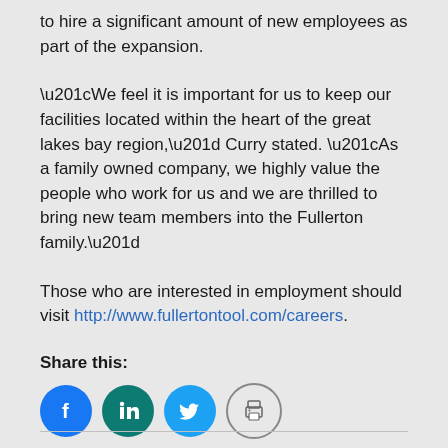to hire a significant amount of new employees as part of the expansion.
“We feel it is important for us to keep our facilities located within the heart of the great lakes bay region,” Curry stated. “As a family owned company, we highly value the people who work for us and we are thrilled to bring new team members into the Fullerton family.”
Those who are interested in employment should visit http://www.fullertontool.com/careers.
Share this:
[Figure (infographic): Social share buttons: Facebook (blue circle), LinkedIn (teal circle), Twitter (light blue circle), Print (grey circle outline with printer icon)]